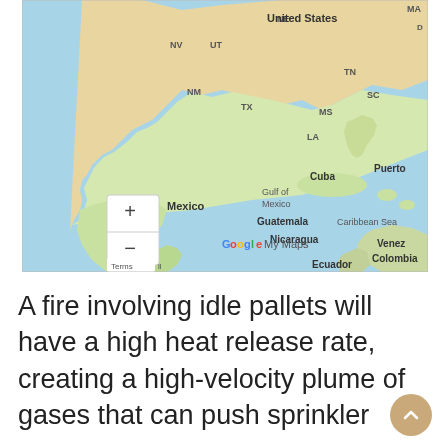[Figure (map): Google My Maps screenshot showing a map of North America, Central America, and the Caribbean with flame icons marking multiple locations across the United States. The map shows country and state labels including NV, UT, NM, TX, NE, TN, SC, MA, MS, LA states, and countries Mexico, Cuba, Guatemala, Nicaragua, Venezuela, Colombia, Ecuador. Bodies of water labeled include Gulf of Mexico and Caribbean Sea. Map includes zoom controls (+/-) and Google My Maps branding with Terms link.]
A fire involving idle pallets will have a high heat release rate, creating a high-velocity plume of gases that can push sprinkler